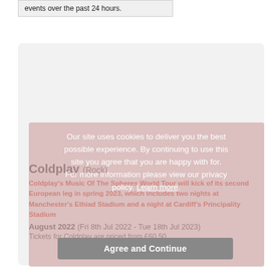events over the past 24 hours.
Our site uses cookies to deliver you the best possible experience. By continuing to use this site you agree that you are happy with for. For more information please view our privacy policy. Learn more.
Coldplay (Rock)
Coldplay's Music Of The Spheres World Tour will kick of its second European leg in spring 2023, which includes two nights at Manchester's Ethiad Stadium and a night at Cardiff's Principality Stadium
August 2022 (Fri 8th Jul 2022 - Tue 18th Jul 2023)
Tickets for Coldplay are priced from £60.50
Agree and Continue